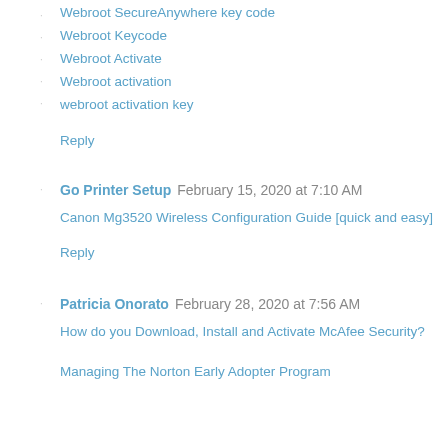Webroot SecureAnywhere key code
Webroot Keycode
Webroot Activate
Webroot activation
webroot activation key
Reply
Go Printer Setup  February 15, 2020 at 7:10 AM
Canon Mg3520 Wireless Configuration Guide [quick and easy]
Reply
Patricia Onorato  February 28, 2020 at 7:56 AM
How do you Download, Install and Activate McAfee Security?
Managing The Norton Early Adopter Program